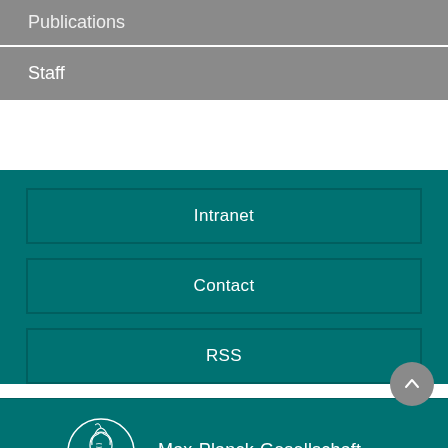Publications
Staff
Intranet
Contact
RSS
[Figure (logo): Max-Planck-Gesellschaft circular logo with Minerva figure]
Max-Planck-Gesellschaft
Imprint
Privacy Policy